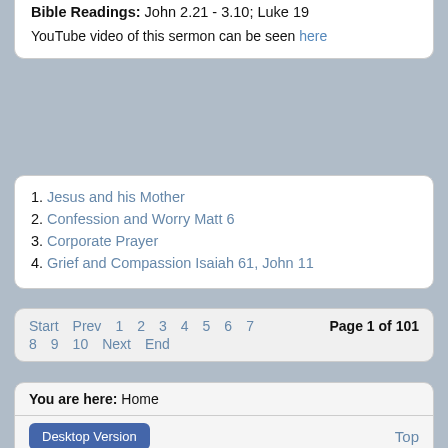Bassendean on Sunday April 3, 2022
Bible Readings: John 2.21 - 3.10; Luke 19
YouTube video of this sermon can be seen here
1. Jesus and his Mother
2. Confession and Worry Matt 6
3. Corporate Prayer
4. Grief and Compassion Isaiah 61, John 11
Start Prev 1 2 3 4 5 6 7 Page 1 of 101 8 9 10 Next End
You are here: Home
Desktop Version | Top